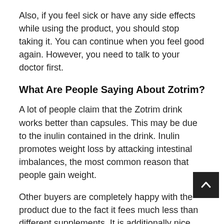Also, if you feel sick or have any side effects while using the product, you should stop taking it. You can continue when you feel good again. However, you need to talk to your doctor first.
What Are People Saying About Zotrim?
A lot of people claim that the Zotrim drink works better than capsules. This may be due to the inulin contained in the drink. Inulin promotes weight loss by attacking intestinal imbalances, the most common reason that people gain weight.
Other buyers are completely happy with the product due to the fact it fees much less than different supplements. It is additionally nice due to the fact it helps them burn extra calories.
One of the things that satisfy people about a product is that it offers faster results without side effects. Clinical